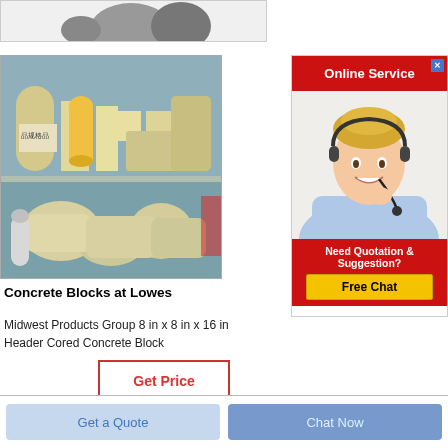[Figure (photo): Top strip showing partial product images on light grey background]
[Figure (photo): Shelf with various concrete block molds and foam shapes in beige/cream tones]
Concrete Blocks at Lowes
Midwest Products Group 8 in x 8 in x 16 in Header Cored Concrete Block
[Figure (other): Get Price button with red border]
[Figure (other): Online Service advertisement with red header, photo of female customer service agent, and Free Chat button]
[Figure (other): Bottom bar with Get a Quote and Chat Now buttons]